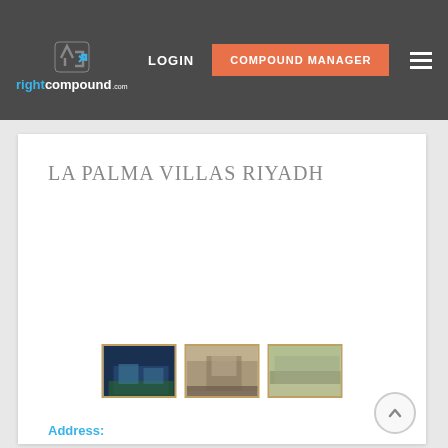rightcompound.com
LOGIN
COMPOUND MANAGER
LA PALMA VILLAS RIYADH
[Figure (photo): Three thumbnail photos of La Palma Villas Riyadh compound exterior views]
Address: